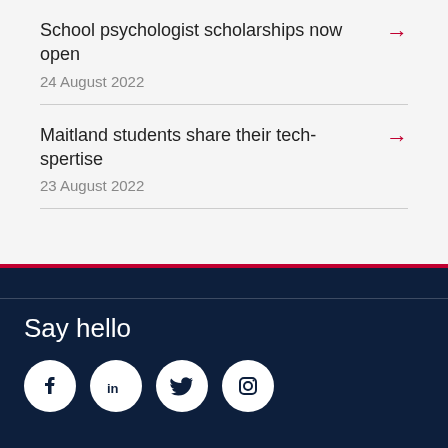School psychologist scholarships now open
24 August 2022
Maitland students share their tech-spertise
23 August 2022
Say hello
[Figure (illustration): Social media icons: Facebook, LinkedIn, Twitter, Instagram in white circles on dark navy background]